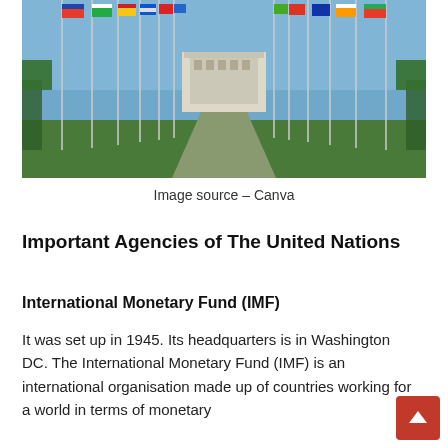[Figure (photo): A wide avenue lined on both sides with tall flagpoles bearing colorful national flags, leading toward a large white institutional building (UN Palais des Nations), with green grass and trees, blue sky.]
Image source – Canva
Important Agencies of The United Nations
International Monetary Fund (IMF)
It was set up in 1945. Its headquarters is in Washington DC. The International Monetary Fund (IMF) is an international organisation made up of countries working for a world in terms of monetary